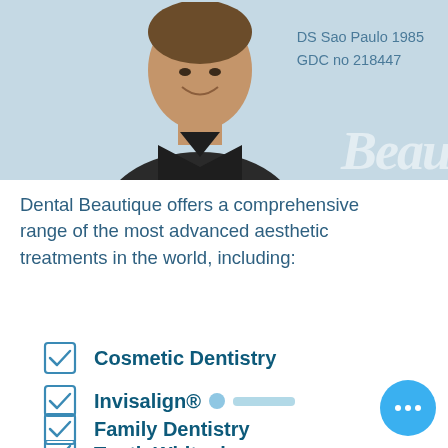[Figure (photo): Portrait photo of a male dentist in dark scrubs, smiling, on a light blue background. Cursive 'beautique' watermark on the right side.]
DS Sao Paulo 1985
GDC no 218447
Dental Beautique offers a comprehensive range of the most advanced aesthetic treatments in the world, including:
Cosmetic Dentistry
Invisalign®
Family Dentistry
Tooth Whitening